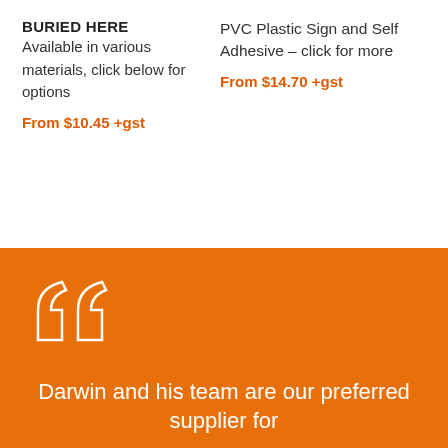BURIED HERE
Available in various materials, click below for options
From $10.45 +gst
PVC Plastic Sign and Self Adhesive – click for more
From $14.70 +gst
Darwin and his team are our preferred supplier for